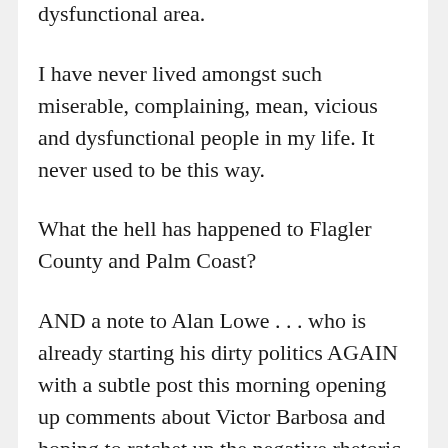...and get the hell out of this dysfunctional area.
I have never lived amongst such miserable, complaining, mean, vicious and dysfunctional people in my life. It never used to be this way.
What the hell has happened to Flagler County and Palm Coast?
AND a note to Alan Lowe . . . who is already starting his dirty politics AGAIN with a subtle post this morning opening up comments about Victor Barbosa and hoping to ratchet up the negative rhetoric in an effort to become the next PC City Council...